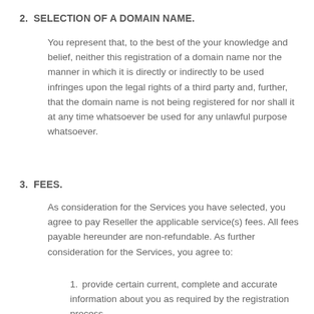2. SELECTION OF A DOMAIN NAME.
You represent that, to the best of the your knowledge and belief, neither this registration of a domain name nor the manner in which it is directly or indirectly to be used infringes upon the legal rights of a third party and, further, that the domain name is not being registered for nor shall it at any time whatsoever be used for any unlawful purpose whatsoever.
3. FEES.
As consideration for the Services you have selected, you agree to pay Reseller the applicable service(s) fees. All fees payable hereunder are non-refundable. As further consideration for the Services, you agree to:
provide certain current, complete and accurate information about you as required by the registration process.